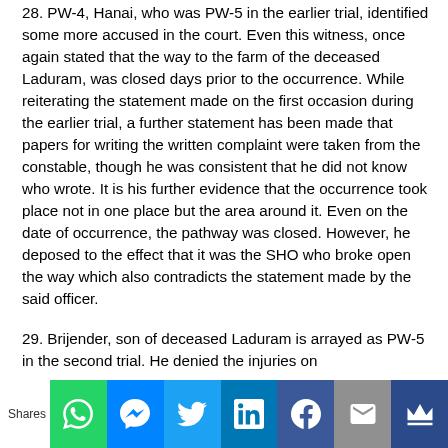28. PW-4, Hanai, who was PW-5 in the earlier trial, identified some more accused in the court. Even this witness, once again stated that the way to the farm of the deceased Laduram, was closed days prior to the occurrence. While reiterating the statement made on the first occasion during the earlier trial, a further statement has been made that papers for writing the written complaint were taken from the constable, though he was consistent that he did not know who wrote. It is his further evidence that the occurrence took place not in one place but the area around it. Even on the date of occurrence, the pathway was closed. However, he deposed to the effect that it was the SHO who broke open the way which also contradicts the statement made by the said officer.
29. Brijender, son of deceased Laduram is arrayed as PW-5 in the second trial. He denied the injuries on